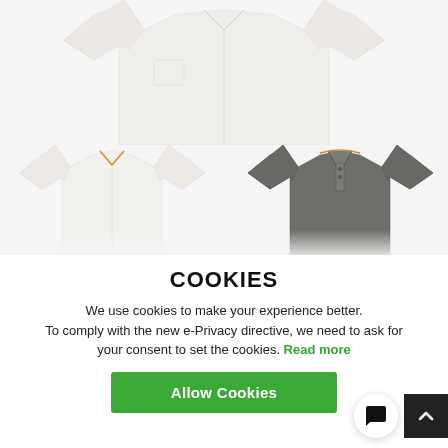[Figure (photo): Product page showing white dress shirts and a grey polo shirt on a light grey background. Top: one white long-sleeve dress shirt displayed from behind. Bottom left: white long-sleeve shirt. Bottom right: grey polo shirt.]
COOKIES
We use cookies to make your experience better. To comply with the new e-Privacy directive, we need to ask for your consent to set the cookies. Read more
Allow Cookies